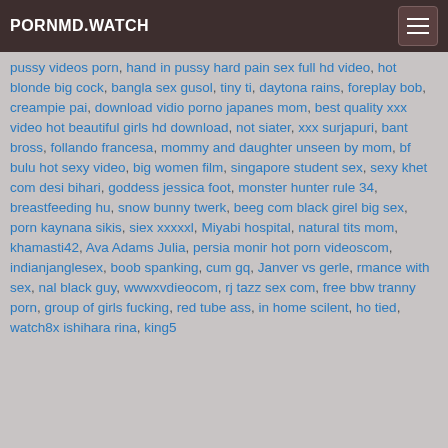PORNMD.WATCH
pussy videos porn, hand in pussy hard pain sex full hd video, hot blonde big cock, bangla sex gusol, tiny ti, daytona rains, foreplay bob, creampie pai, download vidio porno japanes mom, best quality xxx video hot beautiful girls hd download, not siater, xxx surjapuri, bant bross, follando francesa, mommy and daughter unseen by mom, bf bulu hot sexy video, big women film, singapore student sex, sexy khet com desi bihari, goddess jessica foot, monster hunter rule 34, breastfeeding hu, snow bunny twerk, beeg com black girel big sex, porn kaynana sikis, siex xxxxxl, Miyabi hospital, natural tits mom, khamasti42, Ava Adams Julia, persia monir hot porn videoscom, indianjanglesex, boob spanking, cum gq, Janver vs gerle, rmance with sex, nal black guy, wwwxvdieocom, rj tazz sex com, free bbw tranny porn, group of girls fucking, red tube ass, in home scilent, ho tied, watch8x ishihara rina, king5